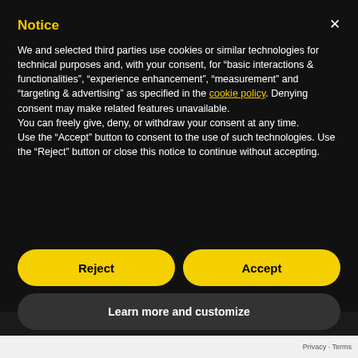Notice
We and selected third parties use cookies or similar technologies for technical purposes and, with your consent, for “basic interactions & functionalities”, “experience enhancement”, “measurement” and “targeting & advertising” as specified in the cookie policy. Denying consent may make related features unavailable.
You can freely give, deny, or withdraw your consent at any time.
Use the “Accept” button to consent to the use of such technologies. Use the “Reject” button or close this notice to continue without accepting.
Reject
Accept
Learn more and customize
Privacy · Terms